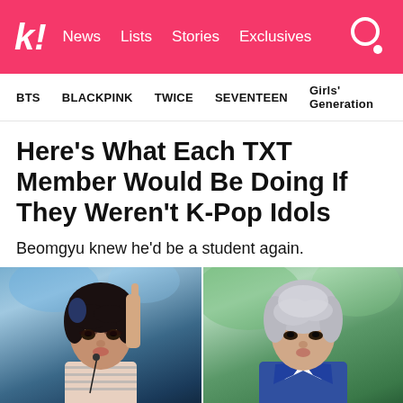k! News Lists Stories Exclusives
BTS  BLACKPINK  TWICE  SEVENTEEN  Girls' Generation
Here's What Each TXT Member Would Be Doing If They Weren't K-Pop Idols
Beomgyu knew he'd be a student again.
[Figure (photo): Two K-pop idols side by side: left person has dark hair and is performing on stage with a microphone; right person has gray/silver hair and is wearing a blue and white outfit, outdoors with green background]